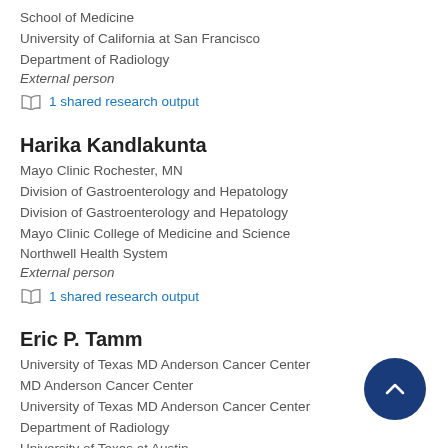School of Medicine
University of California at San Francisco
Department of Radiology
External person
1 shared research output
Harika Kandlakunta
Mayo Clinic Rochester, MN
Division of Gastroenterology and Hepatology
Division of Gastroenterology and Hepatology
Mayo Clinic College of Medicine and Science
Northwell Health System
External person
1 shared research output
Eric P. Tamm
University of Texas MD Anderson Cancer Center
MD Anderson Cancer Center
University of Texas MD Anderson Cancer Center
Department of Radiology
University of Texas at Austin
Department of Radiology